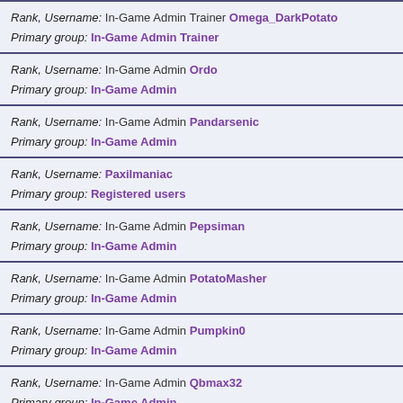Rank, Username: In-Game Admin Trainer Omega_DarkPotato | Primary group: In-Game Admin Trainer
Rank, Username: In-Game Admin Ordo | Primary group: In-Game Admin
Rank, Username: In-Game Admin Pandarsenic | Primary group: In-Game Admin
Rank, Username: Paxilmaniac | Primary group: Registered users
Rank, Username: In-Game Admin Pepsiman | Primary group: In-Game Admin
Rank, Username: In-Game Admin PotatoMasher | Primary group: In-Game Admin
Rank, Username: In-Game Admin Pumpkin0 | Primary group: In-Game Admin
Rank, Username: In-Game Admin Qbmax32 | Primary group: In-Game Admin
Rank, Username: In-Game Admin Rageguy505 | Primary group: In-Game Admin